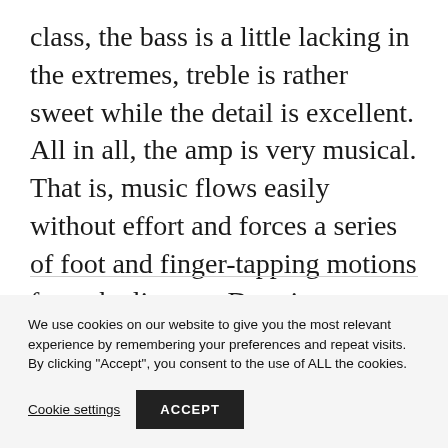class, the bass is a little lacking in the extremes, treble is rather sweet while the detail is excellent. All in all, the amp is very musical. That is, music flows easily without effort and forces a series of foot and finger-tapping motions from the listener. Darn it.
We use cookies on our website to give you the most relevant experience by remembering your preferences and repeat visits. By clicking "Accept", you consent to the use of ALL the cookies.
Cookie settings
ACCEPT